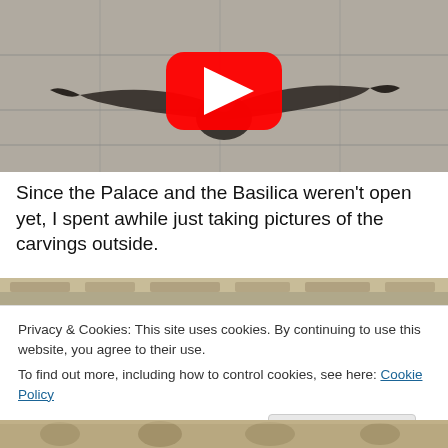[Figure (photo): A bird (pigeon/swift) photographed from above on stone pavement, with wings spread, center of image has a YouTube play button (red rounded rectangle with white triangle).]
Since the Palace and the Basilica weren't open yet, I spent awhile just taking pictures of the carvings outside.
[Figure (photo): Partial view of carved stone wall exterior of a building.]
Privacy & Cookies: This site uses cookies. By continuing to use this website, you agree to their use.
To find out more, including how to control cookies, see here: Cookie Policy
Close and accept
[Figure (photo): Bottom partial view of carved stone relief sculptures on a building exterior.]